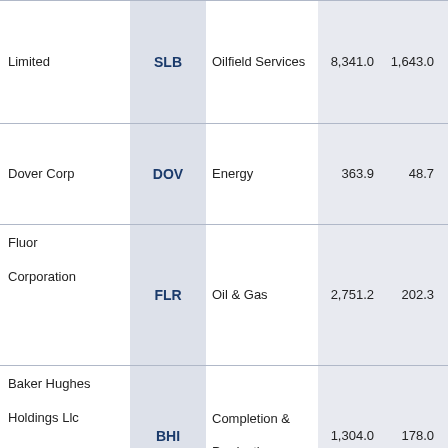| Company | Ticker | Sector | Revenue | Net Income | Margin |
| --- | --- | --- | --- | --- | --- |
| Limited | SLB | Oilfield Services | 8,341.0 | 1,643.0 | 19.7 % |
| Dover Corp | DOV | Energy | 363.9 | 48.7 | 13.39 % |
| Fluor Corporation | FLR | Oil & Gas | 2,751.2 | 202.3 | 7.35 % |
| Baker Hughes Holdings Llc | BHI | Completion & Production | 1,304.0 | 178.0 | 13.65 % |
| Halliburton Company | HAL | Completion & Production | 3,200.0 | 163.0 | 5.09 % |